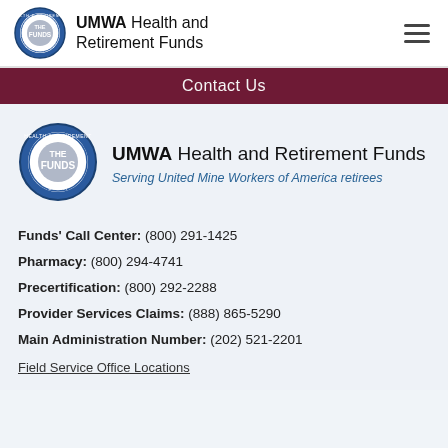UMWA Health and Retirement Funds
Contact Us
[Figure (logo): UMWA Health and Retirement Funds circular seal logo with 'THE FUNDS' text in center]
UMWA Health and Retirement Funds
Serving United Mine Workers of America retirees
Funds' Call Center: (800) 291-1425
Pharmacy: (800) 294-4741
Precertification: (800) 292-2288
Provider Services Claims: (888) 865-5290
Main Administration Number: (202) 521-2201
Field Service Office Locations